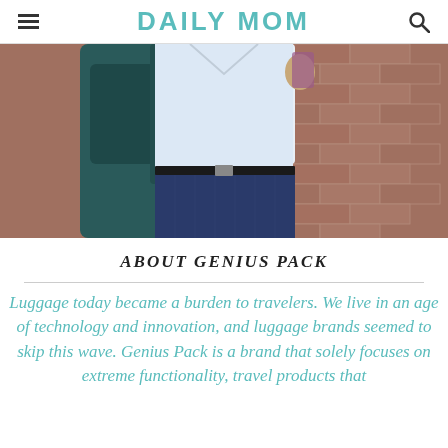DAILY MOM
[Figure (photo): A person wearing a white dress shirt, blue pinstripe trousers, and carrying a dark teal backpack, standing in front of a brick wall. Only the torso and lower body are visible.]
ABOUT GENIUS PACK
Luggage today became a burden to travelers. We live in an age of technology and innovation, and luggage brands seemed to skip this wave. Genius Pack is a brand that solely focuses on extreme functionality, travel products that